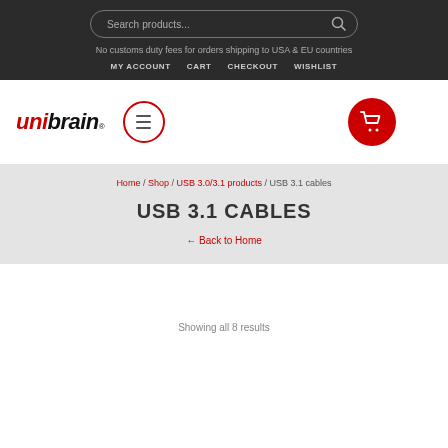Search products...
No customs duty fees for orders shipping to USA & EU countries
MY ACCOUNT | CART | CHECKOUT | WISHLIST
[Figure (logo): unibrain logo with red 'uni' and black 'brain' text, registered trademark symbol]
[Figure (other): Hamburger menu icon inside a red circle border]
[Figure (other): Shopping cart icon inside a red filled circle]
Home / Shop / USB 3.0/3.1 products / USB 3.1 cables
USB 3.1 CABLES
← Back to Home
Showing all 8 results